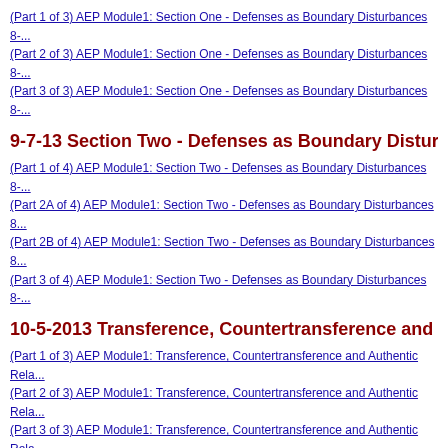(Part 1 of 3) AEP Module1: Section One - Defenses as Boundary Disturbances 8-...
(Part 2 of 3) AEP Module1: Section One - Defenses as Boundary Disturbances 8-...
(Part 3 of 3) AEP Module1: Section One - Defenses as Boundary Disturbances 8-...
9-7-13 Section Two - Defenses as Boundary Disturb...
(Part 1 of 4) AEP Module1: Section Two - Defenses as Boundary Disturbances 8-...
(Part 2A of 4) AEP Module1: Section Two - Defenses as Boundary Disturbances 8...
(Part 2B of 4) AEP Module1: Section Two - Defenses as Boundary Disturbances 8...
(Part 3 of 4) AEP Module1: Section Two - Defenses as Boundary Disturbances 8-...
10-5-2013 Transference, Countertransference and A...
(Part 1 of 3) AEP Module1: Transference, Countertransference and Authentic Rela...
(Part 2 of 3) AEP Module1: Transference, Countertransference and Authentic Rela...
(Part 3 of 3) AEP Module1: Transference, Countertransference and Authentic Rela...
AEP Module 6 AEP Approach to the Body, Characte...
(Class 5) 10-11-2013 Character Strategy I
(Part 1 of 3) AEP Module6: Character Strategy I - 10/11/2013
(Part 2 of 3) AEP Module6: Character Strategy I - 10/11/2013
(Part 3 of 3) AEP Module6: Character Strategy I - 10/11/2013
(Class 11) 5-16-2014 AEP Trauma Work: Physiology...